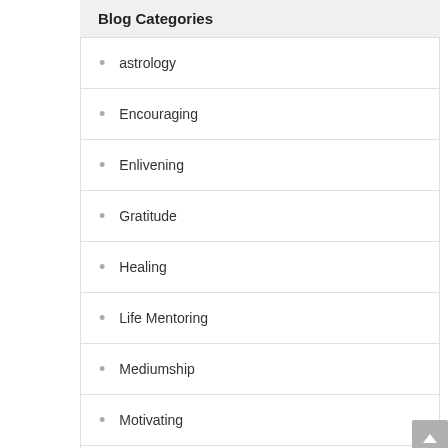Blog Categories
astrology
Encouraging
Enlivening
Gratitude
Healing
Life Mentoring
Mediumship
Motivating
Reiki
Reliable